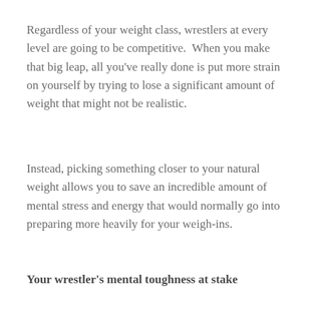Regardless of your weight class, wrestlers at every level are going to be competitive.  When you make that big leap, all you've really done is put more strain on yourself by trying to lose a significant amount of weight that might not be realistic.
Instead, picking something closer to your natural weight allows you to save an incredible amount of mental stress and energy that would normally go into preparing more heavily for your weigh-ins.
Your wrestler's mental toughness at stake